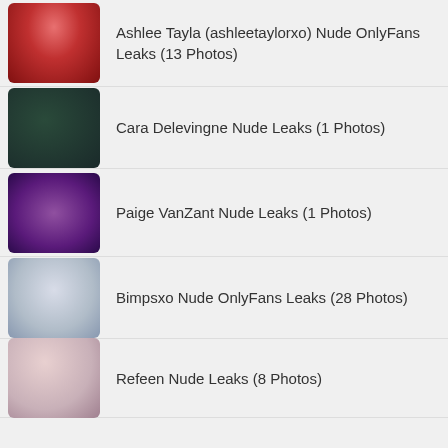Ashlee Tayla (ashleetaylorxo) Nude OnlyFans Leaks (13 Photos)
Cara Delevingne Nude Leaks (1 Photos)
Paige VanZant Nude Leaks (1 Photos)
Bimpsxo Nude OnlyFans Leaks (28 Photos)
Refeen Nude Leaks (8 Photos)